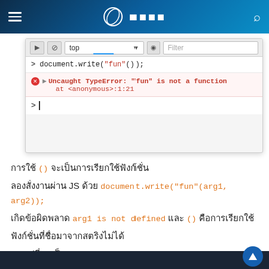■ ■ ■ (logo) ■■■■ (search)
[Figure (screenshot): Browser developer console showing: command 'document.write("fun"());' with error 'Uncaught TypeError: "fun" is not a function at <anonymous>:1:21']
การใช้ () จะเป็นการเรียกใช้ฟังก์ชั่น
ลองสั่งงานผ่าน JS ด้วย document.write("fun"(arg1, arg2));
เกิดข้อผิดพลาด arg1 is not defined และ () คือการเรียกใช้
ฟังก์ชั่นที่ชื่อมาจากสตริงไม่ได้
ลองเปลี่ยนเป็น document.write("fun"(1, "2", 3+4));
ยังคงได้ข้อผิดพลาด "fun" is not a function